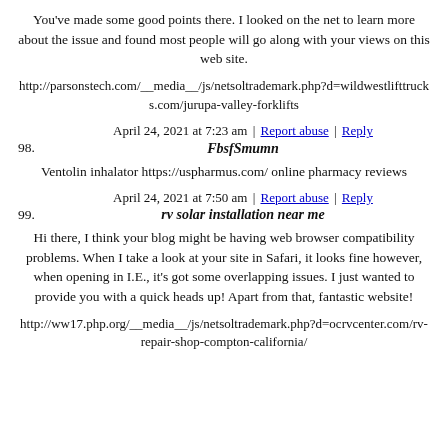You've made some good points there. I looked on the net to learn more about the issue and found most people will go along with your views on this web site.
http://parsonstech.com/__media__/js/netsoltrademark.php?d=wildwestlifttrucks.com/jurupa-valley-forklifts
April 24, 2021 at 7:23 am | Report abuse | Reply
98. FbsfSmumn
Ventolin inhalator https://uspharmus.com/ online pharmacy reviews
April 24, 2021 at 7:50 am | Report abuse | Reply
99. rv solar installation near me
Hi there, I think your blog might be having web browser compatibility problems. When I take a look at your site in Safari, it looks fine however, when opening in I.E., it's got some overlapping issues. I just wanted to provide you with a quick heads up! Apart from that, fantastic website!
http://ww17.php.org/__media__/js/netsoltrademark.php?d=ocrvcenter.com/rv-repair-shop-compton-california/